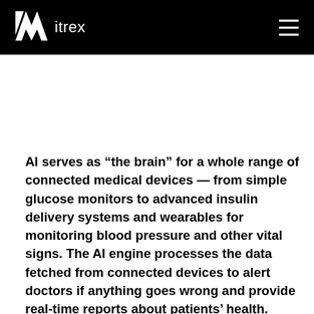itrex
AI serves as “the brain” for a whole range of connected medical devices — from simple glucose monitors to advanced insulin delivery systems and wearables for monitoring blood pressure and other vital signs. The AI engine processes the data fetched from connected devices to alert doctors if anything goes wrong and provide real-time reports about patients’ health.